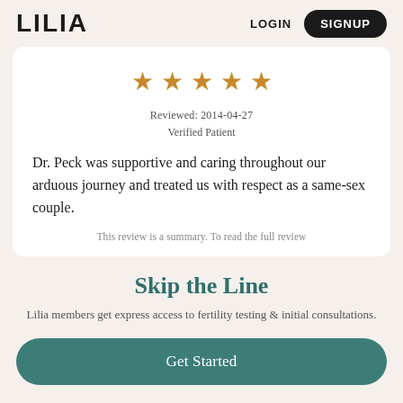LILIA   LOGIN   SIGNUP
[Figure (other): Five gold star rating icons]
Reviewed: 2014-04-27
Verified Patient
Dr. Peck was supportive and caring throughout our arduous journey and treated us with respect as a same-sex couple.
This review is a summary. To read the full review
Skip the Line
Lilia members get express access to fertility testing & initial consultations.
Get Started